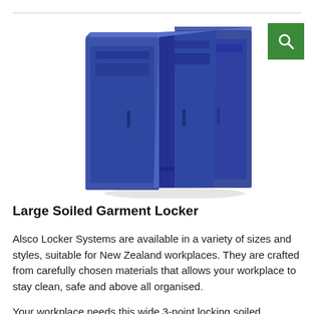[Figure (illustration): Blue metal locker unit with one door open, showing interior shelf, rendered as a 3D illustration.]
Large Soiled Garment Locker
Alsco Locker Systems are available in a variety of sizes and styles, suitable for New Zealand workplaces. They are crafted from carefully chosen materials that allows your workplace to stay clean, safe and above all organised.
Your workplace needs this wide 3-point locking soiled